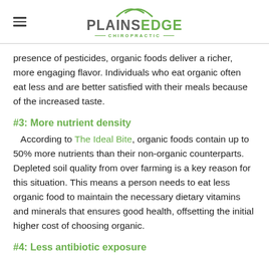Plains Edge Chiropractic
presence of pesticides, organic foods deliver a richer, more engaging flavor. Individuals who eat organic often eat less and are better satisfied with their meals because of the increased taste.
#3: More nutrient density
According to The Ideal Bite, organic foods contain up to 50% more nutrients than their non-organic counterparts. Depleted soil quality from over farming is a key reason for this situation. This means a person needs to eat less organic food to maintain the necessary dietary vitamins and minerals that ensures good health, offsetting the initial higher cost of choosing organic.
#4: Less antibiotic exposure